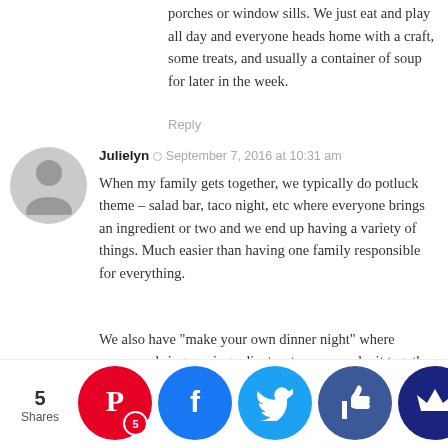porches or window sills. We just eat and play all day and everyone heads home with a craft, some treats, and usually a container of soup for later in the week.
Reply
Julielyn · September 7, 2016 at 10:31 am
When my family gets together, we typically do potluck theme – salad bar, taco night, etc where everyone brings an ingredient or two and we end up having a variety of things. Much easier than having one family responsible for everything.

We also have "make your own dinner night" where everyone brings an ingredient or two, we make it together and then bake/cook it together. Always lots of fun and cheap!
Reply
Mrs. Frugalwoods · September 7, 2016 at 3:06 pm
Love taco nights!! P.S. hi Julielyn 😉
Reply
sn...ayon · September 10, ... at 10:16...
W... d you ...beaut...(presu...ugal) dinn...ware?
5 Shares